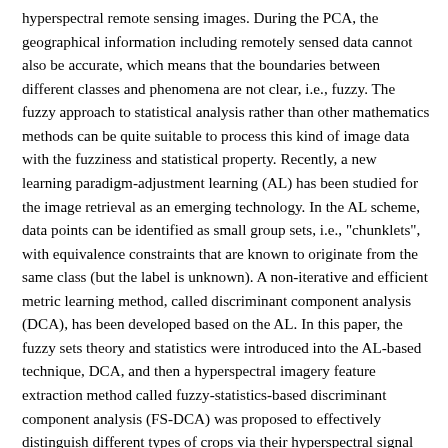hyperspectral remote sensing images. During the PCA, the geographical information including remotely sensed data cannot also be accurate, which means that the boundaries between different classes and phenomena are not clear, i.e., fuzzy. The fuzzy approach to statistical analysis rather than other mathematics methods can be quite suitable to process this kind of image data with the fuzziness and statistical property. Recently, a new learning paradigm-adjustment learning (AL) has been studied for the image retrieval as an emerging technology. In the AL scheme, data points can be identified as small group sets, i.e., "chunklets", with equivalence constraints that are known to originate from the same class (but the label is unknown). A non-iterative and efficient metric learning method, called discriminant component analysis (DCA), has been developed based on the AL. In this paper, the fuzzy sets theory and statistics were introduced into the AL-based technique, DCA, and then a hyperspectral imagery feature extraction method called fuzzy-statistics-based discriminant component analysis (FS-DCA) was proposed to effectively distinguish different types of crops via their hyperspectral signal subspace. The statistical characteristics involved the fuzzy mean, as well as fuzzy scatter matrix were defined based on the